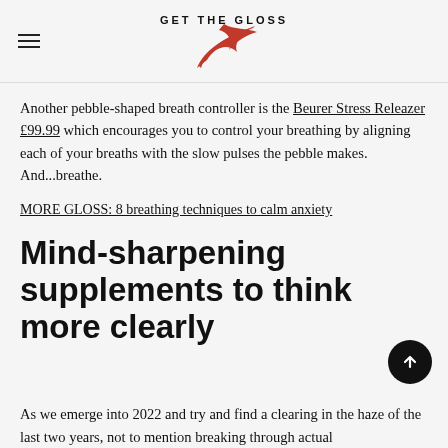GET THE GLOSS
Another pebble-shaped breath controller is the Beurer Stress Releazer £99.99 which encourages you to control your breathing by aligning each of your breaths with the slow pulses the pebble makes. And...breathe.
MORE GLOSS: 8 breathing techniques to calm anxiety
Mind-sharpening supplements to think more clearly
As we emerge into 2022 and try and find a clearing in the haze of the last two years, not to mention breaking through actual